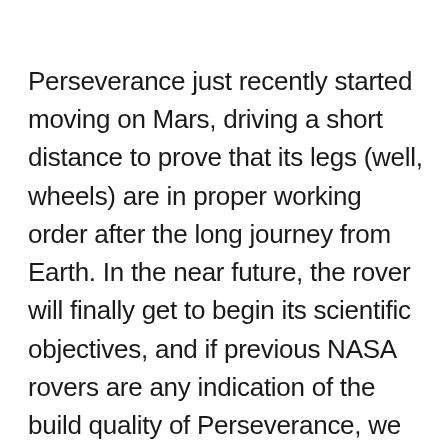Perseverance just recently started moving on Mars, driving a short distance to prove that its legs (well, wheels) are in proper working order after the long journey from Earth. In the near future, the rover will finally get to begin its scientific objectives, and if previous NASA rovers are any indication of the build quality of Perseverance, we can expect many years of exciting discoveries to come. While we wait, we'll just keep this Mars wind on repeat as we drift off to sleep.